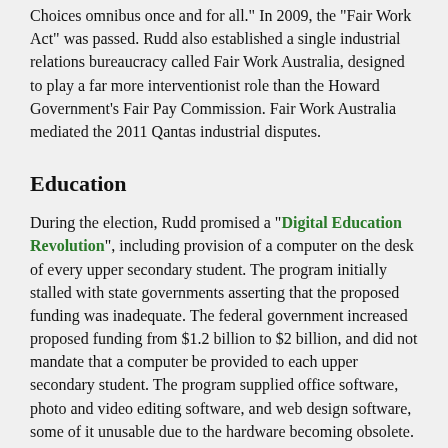Choices omnibus once and for all." In 2009, the "Fair Work Act" was passed. Rudd also established a single industrial relations bureaucracy called Fair Work Australia, designed to play a far more interventionist role than the Howard Government's Fair Pay Commission. Fair Work Australia mediated the 2011 Qantas industrial disputes.
Education
During the election, Rudd promised a "Digital Education Revolution", including provision of a computer on the desk of every upper secondary student. The program initially stalled with state governments asserting that the proposed funding was inadequate. The federal government increased proposed funding from $1.2 billion to $2 billion, and did not mandate that a computer be provided to each upper secondary student. The program supplied office software, photo and video editing software, and web design software, some of it unusable due to the hardware becoming obsolete.